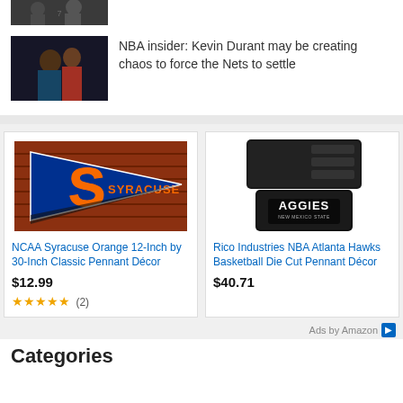[Figure (photo): Partial photo of basketball players at top]
[Figure (photo): Photo of Kevin Durant hugging someone]
NBA insider: Kevin Durant may be creating chaos to force the Nets to settle
[Figure (photo): NCAA Syracuse Orange pennant with S logo on brick background]
NCAA Syracuse Orange 12-Inch by 30-Inch Classic Pennant Décor
$12.99
★★★★★ (2)
[Figure (photo): Rico Industries NBA Atlanta Hawks Basketball Die Cut Pennant Décor - wallet with Aggies logo]
Rico Industries NBA Atlanta Hawks Basketball Die Cut Pennant Décor
$40.71
Ads by Amazon
Categories